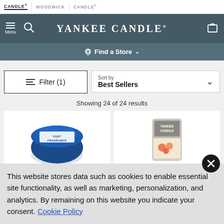CANDLE | WOODWICK | CANDLE®
[Figure (screenshot): Yankee Candle website navigation bar with hamburger menu, search icon, Yankee Candle logo, and cart icon on dark teal background]
Find a Store
Filter (1)
Sort by Best Sellers
Showing 24 of 24 results
[Figure (photo): Two product cards showing candle products from Yankee Candle — left card shows a blue Fast Fragrance product, right card shows a Yankee Candle wax melt product]
This website stores data such as cookies to enable essential site functionality, as well as marketing, personalization, and analytics. By remaining on this website you indicate your consent. Cookie Policy